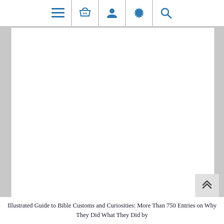[Figure (screenshot): Website navigation bar with icons: hamburger menu, shopping basket, user profile, settings gear, and search magnifying glass — all in blue on white background with dividers]
[Figure (other): Large white content area (advertisement or image placeholder), mostly blank white space]
[Figure (other): Grey scroll-to-top button with double upward chevron arrows]
Illustrated Guide to Bible Customs and Curiosities: More Than 750 Entries on Why They Did What They Did by